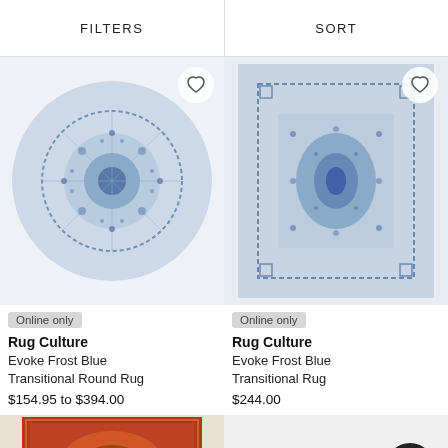FILTERS | SORT
[Figure (photo): Round blue and white transitional patterned rug on a white background]
Online only
Rug Culture
Evoke Frost Blue Transitional Round Rug
$154.95 to $394.00
[Figure (photo): Rectangular blue and white transitional patterned rug on a light background]
Online only
Rug Culture
Evoke Frost Blue Transitional Rug
$244.00
[Figure (photo): Partial view of a red/orange patterned rug at the bottom of the page]